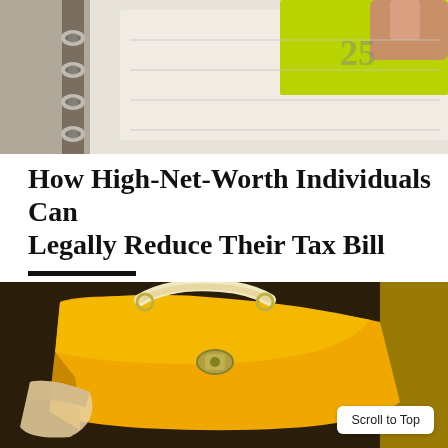[Figure (photo): Close-up photo of a ring binder planner with a green sticky note and a hand visible, calendar numbers visible in background]
How High-Net-Worth Individuals Can Legally Reduce Their Tax Bill
BY LLM REPORTERS
[Figure (photo): Photo of a yellow leather handbag with strap against a dark background with yellow accents]
Scroll to Top